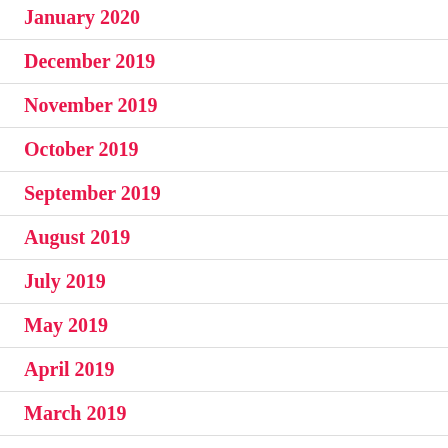January 2020
December 2019
November 2019
October 2019
September 2019
August 2019
July 2019
May 2019
April 2019
March 2019
February 2019
January 2019